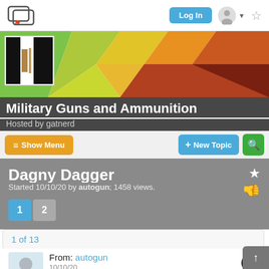Log In
[Figure (screenshot): Forum banner for Military Guns and Ammunition with colorful geometric polygon background and a small image of ammunition/weapons on the left]
Military Guns and Ammunition
Hosted by gatnerd
Show Menu   + New Topic
Dagny Dagger
Started 10/10/20 by autogun; 1458 views.
1 of 13
From: autogun
10/10/20
An interesting new general-purpose pistol round from Atier